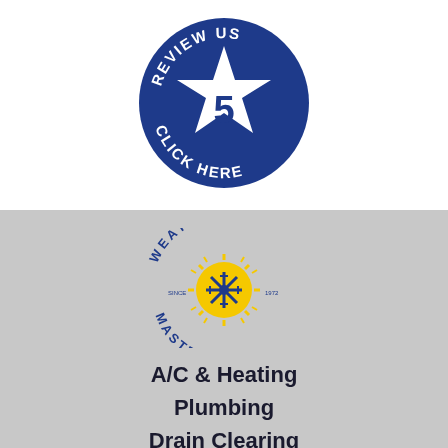[Figure (logo): Dark navy blue circle button with '5 STAR REVIEW US CLICK HERE' text around a white star containing the number 5]
[Figure (logo): Weather Master logo: circular text reading 'WEATHER MASTER' with a sun and snowflake emblem in blue and yellow, 'SINCE 1972' text]
A/C & Heating
Plumbing
Drain Clearing
Water Treatment
Air Quality
Electrical